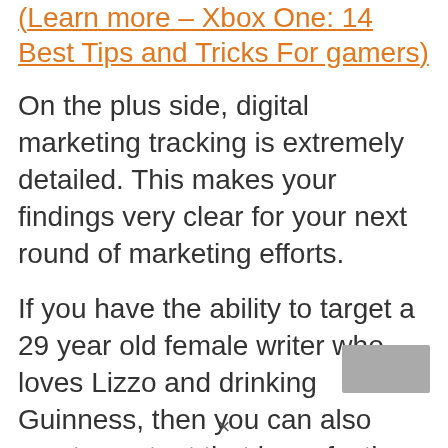(Learn more – Xbox One: 14 Best Tips and Tricks For gamers) On the plus side, digital marketing tracking is extremely detailed. This makes your findings very clear for your next round of marketing efforts. If you have the ability to target a 29 year old female writer who loves Lizzo and drinking Guinness, then you can also create content that is perfectly tailored to her. This allows for clever targeting and creates opportunities for more targeted content.
[Figure (other): Small gray rectangular button/widget in bottom-right corner]